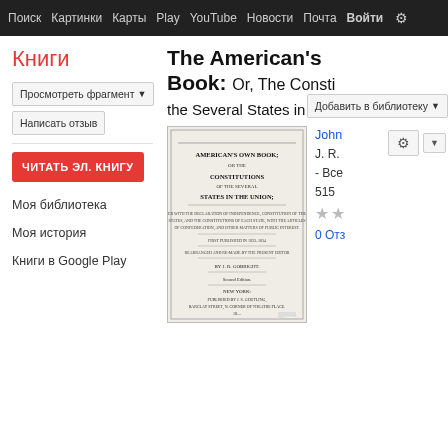Поиск  Картинки  Карты  Play  YouTube  Новости  Почта  Войти  ⚙
Книги
Просмотреть фрагмент ▼   Добавить в библиотеку ▼
Написать отзыв
ЧИТАТЬ ЭЛ. КНИГУ
Моя библиотека
Моя история
Книги в Google Play
The American's Book: Or, The Consti the Several States in the
[Figure (photo): Scanned title page of 'American's Own Book; or the Constitutions of the Several States in the Union' published in New York]
John
J. R.
- Все
515
★★
0 Отз